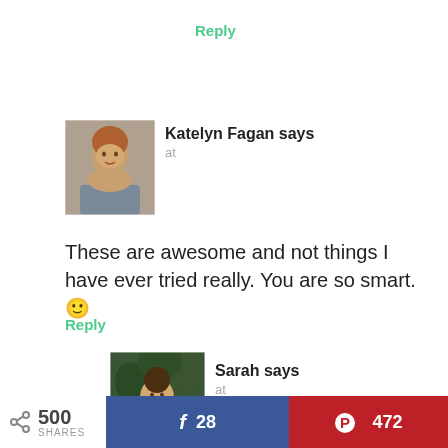Reply
Katelyn Fagan says
at
These are awesome and not things I have ever tried really. You are so smart. 🙂
Reply
Sarah says
at
500 SHARES  28  472